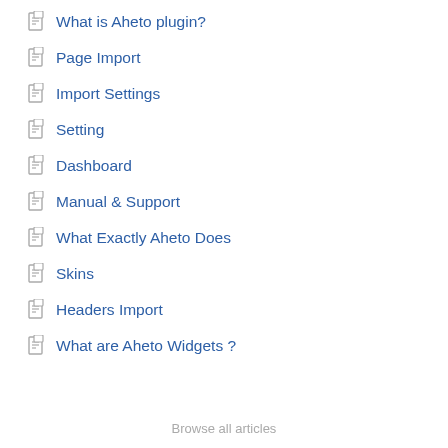What is Aheto plugin?
Page Import
Import Settings
Setting
Dashboard
Manual & Support
What Exactly Aheto Does
Skins
Headers Import
What are Aheto Widgets ?
Browse all articles